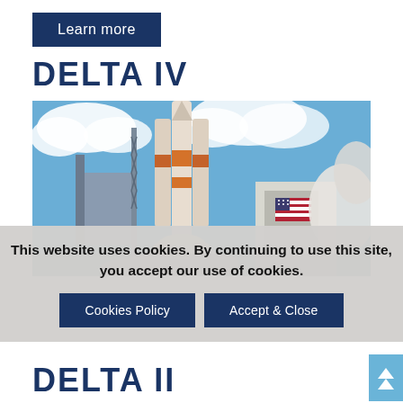Learn more
DELTA IV
[Figure (photo): Delta IV rocket launching from a pad with an American flag on a building and smoke billowing, against a blue sky with clouds.]
This website uses cookies. By continuing to use this site, you accept our use of cookies.
Cookies Policy
Accept & Close
DELTA II